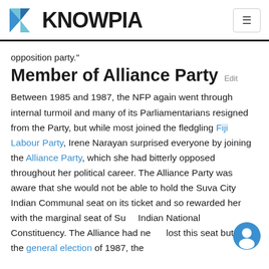KNOWPIA
opposition party."
Member of Alliance Party
Between 1985 and 1987, the NFP again went through internal turmoil and many of its Parliamentarians resigned from the Party, but while most joined the fledgling Fiji Labour Party, Irene Narayan surprised everyone by joining the Alliance Party, which she had bitterly opposed throughout her political career. The Alliance Party was aware that she would not be able to hold the Suva City Indian Communal seat on its ticket and so rewarded her with the marginal seat of Su▌ Indian National Constituency. The Alliance had ne▌ lost this seat but in the general election of 1987, the